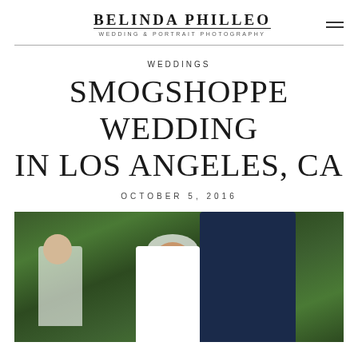BELINDA PHILLEO — WEDDING & PORTRAIT PHOTOGRAPHY
WEDDINGS
SMOGSHOPPE WEDDING IN LOS ANGELES, CA
OCTOBER 5, 2016
[Figure (photo): Bride and groom smiling outdoors at the Smogshoppe venue in Los Angeles, with lush green tropical foliage in the background. The groom wears a navy suit with a pink tie and boutonniere; the bride wears a white dress with a birdcage veil. Bridesmaids visible in the background.]